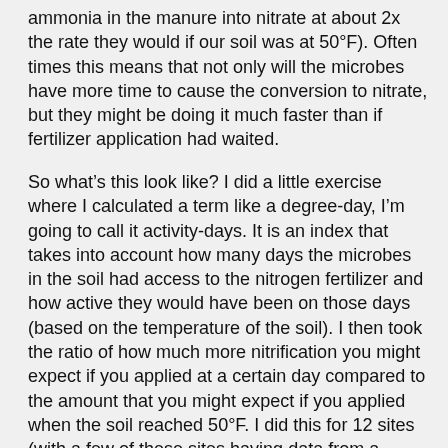ammonia in the manure into nitrate at about 2x the rate they would if our soil was at 50°F). Often times this means that not only will the microbes have more time to cause the conversion to nitrate, but they might be doing it much faster than if fertilizer application had waited.
So what's this look like? I did a little exercise where I calculated a term like a degree-day, I'm going to call it activity-days. It is an index that takes into account how many days the microbes in the soil had access to the nitrogen fertilizer and how active they would have been on those days (based on the temperature of the soil). I then took the ratio of how much more nitrification you might expect if you applied at a certain day compared to the amount that you might expect if you applied when the soil reached 50°F. I did this for 12 sites (with a few of these sites having data from a couple of years) and plotted out the relative risk of nitrification compared to application date. What you can see pretty clearly is we start out with a steep slope (relative risk of nitrification decreasing quickly) until we high a relatively risk of around 1 (that would be the soil at a temperature of 50°F). Once with hit this point, generally around the first